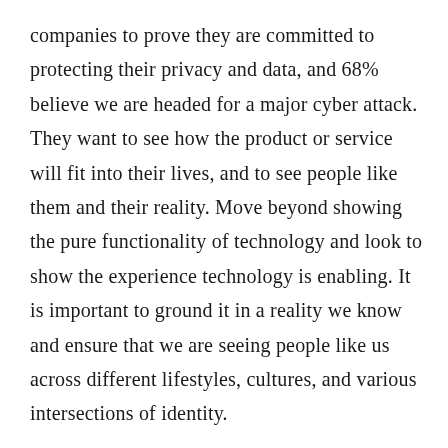companies to prove they are committed to protecting their privacy and data, and 68% believe we are headed for a major cyber attack. They want to see how the product or service will fit into their lives, and to see people like them and their reality. Move beyond showing the pure functionality of technology and look to show the experience technology is enabling. It is important to ground it in a reality we know and ensure that we are seeing people like us across different lifestyles, cultures, and various intersections of identity.